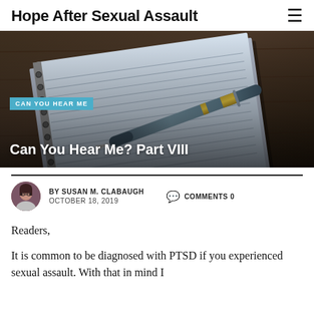Hope After Sexual Assault
[Figure (photo): A fountain pen resting on a lined spiral notebook on a wooden table. Dark moody background.]
Can You Hear Me? Part VIII
BY SUSAN M. CLABAUGH   COMMENTS 0
OCTOBER 18, 2019
Readers,
It is common to be diagnosed with PTSD if you experienced sexual assault. With that in mind I